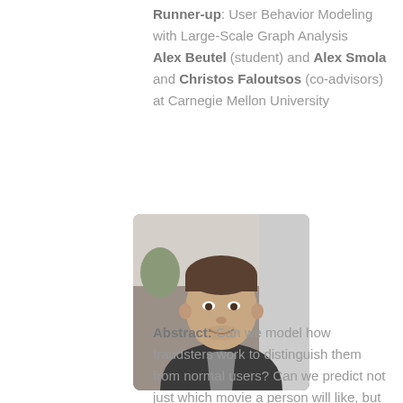Runner-up: User Behavior Modeling with Large-Scale Graph Analysis Alex Beutel (student) and Alex Smola and Christos Faloutsos (co-advisors) at Carnegie Mellon University
[Figure (photo): Headshot of a young man with short brown hair, smiling, wearing a dark zip-up jacket over a grey shirt, photographed indoors with a blurred background.]
Abstract: Can we model how fraudsters work to distinguish them from normal users? Can we predict not just which movie a person will like, but also why? How can we